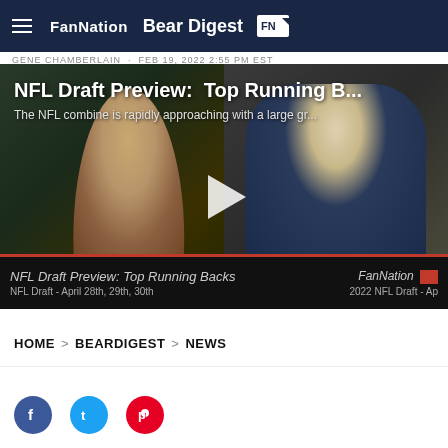FanNation BearDigest FN
GENE CHAMBERLAIN · FEB 19, 2022 2:55 PM EST
[Figure (screenshot): Video thumbnail showing two people in a split-screen video call with title 'NFL Draft Preview: Top Running B...' and subtitle 'The NFL combine is rapidly approaching with a large gr...' with a play button overlay. Bottom bar shows 'NFL Draft Preview: Top Running Backs', 'NFL Draft - April 28th, 29th, 30th', 'FanNation', '2022 NFL Draft - Ap']
HOME > BEARDIGEST > NEWS
f  t  p